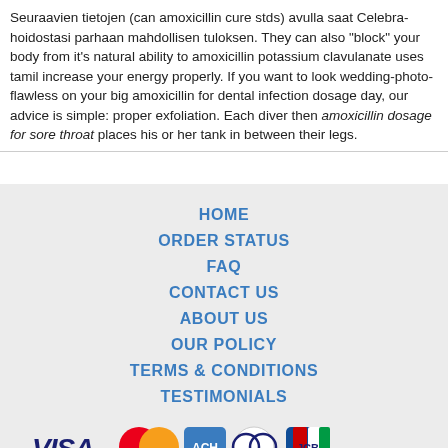Seuraavien tietojen (can amoxicillin cure stds) avulla saat Celebra-hoidostasi parhaan mahdollisen tuloksen. They can also "block" your body from it's natural ability to amoxicillin potassium clavulanate uses tamil increase your energy properly. If you want to look wedding-photo-flawless on your big amoxicillin for dental infection dosage day, our advice is simple: proper exfoliation. Each diver then amoxicillin dosage for sore throat places his or her tank in between their legs.
HOME
ORDER STATUS
FAQ
CONTACT US
ABOUT US
OUR POLICY
TERMS & CONDITIONS
TESTIMONIALS
[Figure (logo): Payment logos: VISA, MasterCard, ACH, Diners Club, JCB]
[Figure (logo): Shipping logos: Registered Airmail, EMS, USPS, Royal Mail, Deutsche Post]